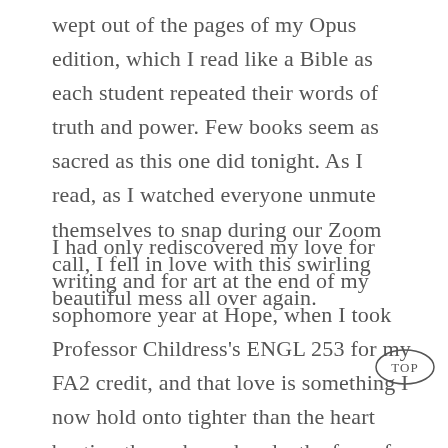wept out of the pages of my Opus edition, which I read like a Bible as each student repeated their words of truth and power. Few books seem as sacred as this one did tonight. As I read, as I watched everyone unmute themselves to snap during our Zoom call, I fell in love with this swirling beautiful mess all over again.
I had only rediscovered my love for writing and for art at the end of my sophomore year at Hope, when I took Professor Childress's ENGL 253 for my FA2 credit, and that love is something I now hold onto tighter than the heart beating through my hands: the fear of facing an unknown world armed only with a pen. After that class I couldn't imagine